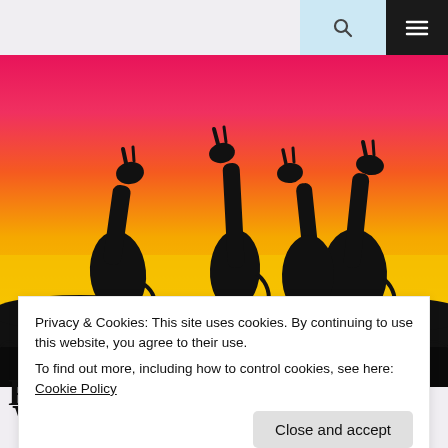[Figure (illustration): Watercolor painting of three giraffe silhouettes against a vivid orange, red, and yellow sunset sky, with black ground/grass at the bottom. Artist watermark visible in lower right corner reading 'tonidouldfiv100'.]
Privacy & Cookies: This site uses cookies. By continuing to use this website, you agree to their use.
To find out more, including how to control cookies, see here: Cookie Policy
Close and accept
WHEN DID